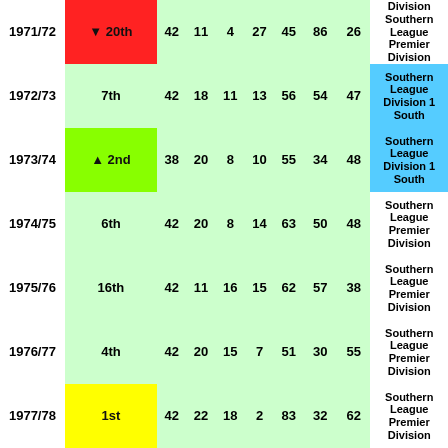| Season | Pos | P | W | D | L | F | A | Pts | Division |
| --- | --- | --- | --- | --- | --- | --- | --- | --- | --- |
| 1971/72 | ▼ 20th | 42 | 11 | 4 | 27 | 45 | 86 | 26 | Southern League Premier Division |
| 1972/73 | 7th | 42 | 18 | 11 | 13 | 56 | 54 | 47 | Southern League Division 1 South |
| 1973/74 | ▲ 2nd | 38 | 20 | 8 | 10 | 55 | 34 | 48 | Southern League Division 1 South |
| 1974/75 | 6th | 42 | 20 | 8 | 14 | 63 | 50 | 48 | Southern League Premier Division |
| 1975/76 | 16th | 42 | 11 | 16 | 15 | 62 | 57 | 38 | Southern League Premier Division |
| 1976/77 | 4th | 42 | 20 | 15 | 7 | 51 | 30 | 55 | Southern League Premier Division |
| 1977/78 | 1st | 42 | 22 | 18 | 2 | 83 | 32 | 62 | Southern League Premier Division |